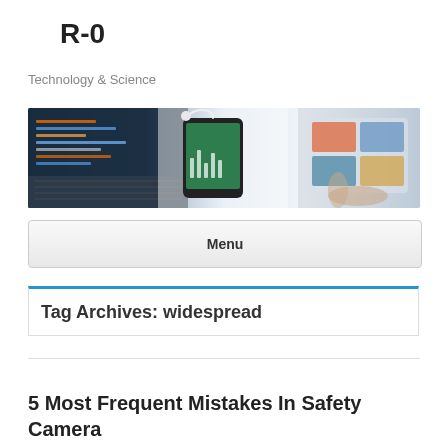R-0
Technology & Science
[Figure (photo): Banner image showing a laptop with code, a smartphone with earphones displaying a music app, and hands using a tablet, all on a desk — technology and devices theme.]
Menu
Tag Archives: widespread
5 Most Frequent Mistakes In Safety Camera